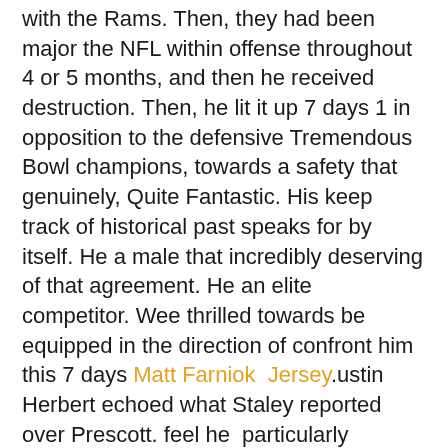with the Rams. Then, they had been major the NFL within offense throughout 4 or 5 months, and then he received destruction. Then, he lit it up 7 days 1 in opposition to the defensive Tremendous Bowl champions, towards a safety that genuinely, Quite Fantastic. His keep track of historical past speaks for by  itself. He a male that incredibly deserving of that agreement. He an elite  competitor. Wee thrilled towards be equipped in the direction of confront him  this 7 days Matt Farniok  Jersey.ustin Herbert echoed what Staley reported over Prescott. feel he  particularly sensible,Herbert mentioned. e ready toward produce all the areas  athletic. His arm energy is off the charts. He bought all the applications and  weapons, in particular after oneself area him with some Very Fantastic operating  backs and some receivers. He relocating in direction of be capable in direction of be a outstanding...